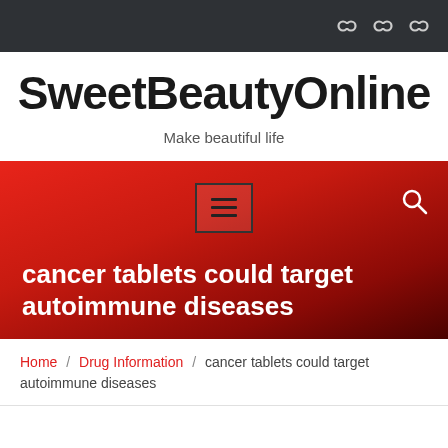SweetBeautyOnline — top navigation bar with social icons
SweetBeautyOnline
Make beautiful life
[Figure (screenshot): Red gradient navigation bar with hamburger menu box and search icon]
cancer tablets could target autoimmune diseases
Home / Drug Information / cancer tablets could target autoimmune diseases